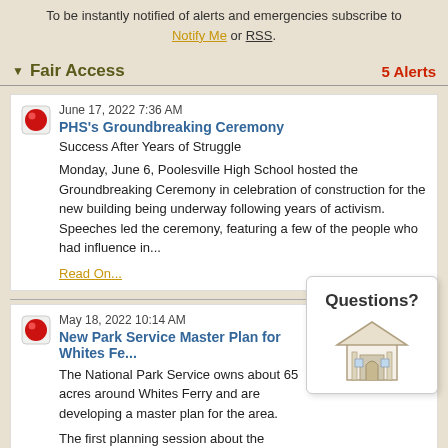To be instantly notified of alerts and emergencies subscribe to Notify Me or RSS.
Fair Access — 5 Alerts
June 17, 2022 7:36 AM
PHS's Groundbreaking Ceremony
Success After Years of Struggle
Monday, June 6, Poolesville High School hosted the Groundbreaking Ceremony in celebration of construction for the new building being underway following years of activism. Speeches led the ceremony, featuring a few of the people who had influence in...
Read On...
May 18, 2022 10:14 AM
New Park Service Master Plan for Whites Fe...
The National Park Service owns about 65 acres around Whites Ferry and are developing a master plan for the area.
The first planning session about the master plan was presented by a contractor running the project. They out... a preliminary sketch of proposed improvements for the land,